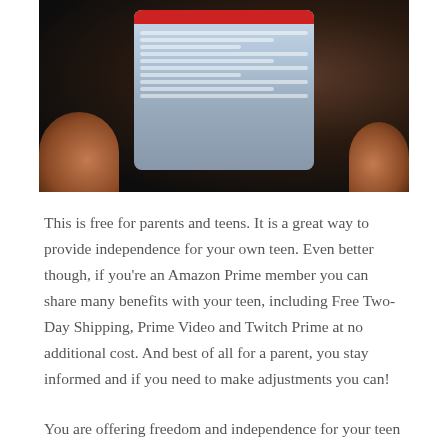[Figure (photo): A hand holding a smartphone displaying an Amazon-related webpage, photographed in low light]
This is free for parents and teens. It is a great way to provide independence for your own teen. Even better though, if you're an Amazon Prime member you can share many benefits with your teen, including Free Two-Day Shipping, Prime Video and Twitch Prime at no additional cost. And best of all for a parent, you stay informed and if you need to make adjustments you can!
You are offering freedom and independence for your teen but you get to set some